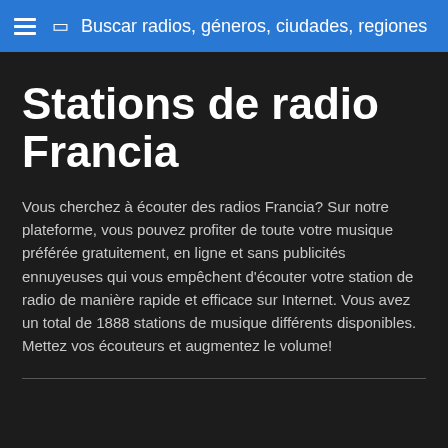Buscar radios, géneros, ciudades, regiones
Stations de radio Francia
Vous cherchez à écouter des radios Francia? Sur notre plateforme, vous pouvez profiter de toute votre musique préférée gratuitement, en ligne et sans publicités ennuyeuses qui vous empêchent d'écouter votre station de radio de manière rapide et efficace sur Internet. Vous avez un total de 1888 stations de musique différents disponibles. Mettez vos écouteurs et augmentez le volume!